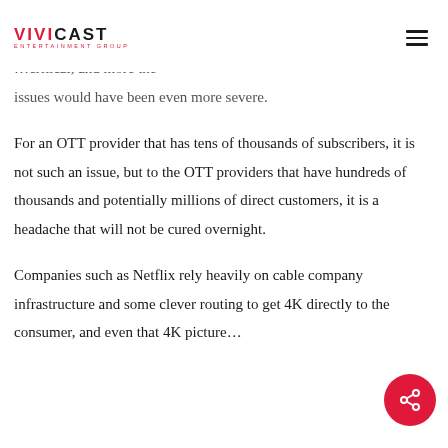Vivicast Entertainment Group
…critical, and more the issues would have been even more severe.
For an OTT provider that has tens of thousands of subscribers, it is not such an issue, but to the OTT providers that have hundreds of thousands and potentially millions of direct customers, it is a headache that will not be cured overnight.
Companies such as Netflix rely heavily on cable company infrastructure and some clever routing to get 4K directly to the consumer, and even that 4K picture…